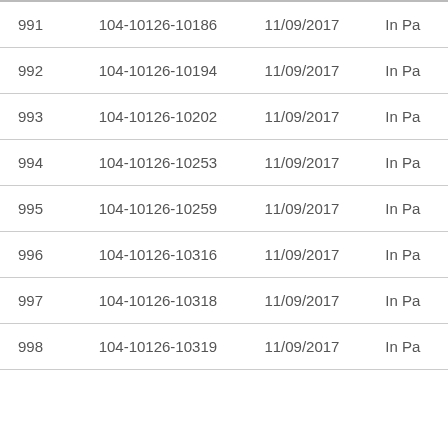| 991 | 104-10126-10186 | 11/09/2017 | In Pa |
| 992 | 104-10126-10194 | 11/09/2017 | In Pa |
| 993 | 104-10126-10202 | 11/09/2017 | In Pa |
| 994 | 104-10126-10253 | 11/09/2017 | In Pa |
| 995 | 104-10126-10259 | 11/09/2017 | In Pa |
| 996 | 104-10126-10316 | 11/09/2017 | In Pa |
| 997 | 104-10126-10318 | 11/09/2017 | In Pa |
| 998 | 104-10126-10319 | 11/09/2017 | In Pa |